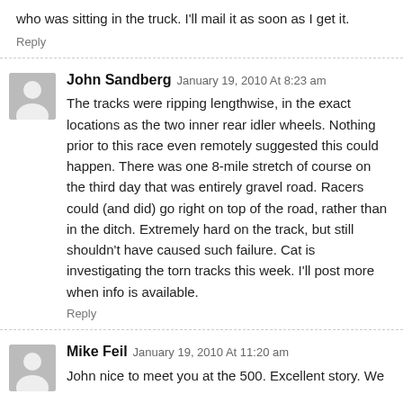who was sitting in the truck. I'll mail it as soon as I get it.
Reply
John Sandberg  January 19, 2010 At 8:23 am
The tracks were ripping lengthwise, in the exact locations as the two inner rear idler wheels. Nothing prior to this race even remotely suggested this could happen. There was one 8-mile stretch of course on the third day that was entirely gravel road. Racers could (and did) go right on top of the road, rather than in the ditch. Extremely hard on the track, but still shouldn't have caused such failure. Cat is investigating the torn tracks this week. I'll post more when info is available.
Reply
Mike Feil  January 19, 2010 At 11:20 am
John nice to meet you at the 500. Excellent story. We